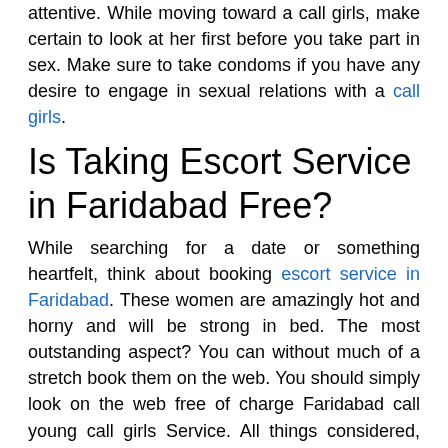attentive. While moving toward a call girls, make certain to look at her first before you take part in sex. Make sure to take condoms if you have any desire to engage in sexual relations with a call girls.
Is Taking Escort Service in Faridabad Free?
While searching for a date or something heartfelt, think about booking escort service in Faridabad. These women are amazingly hot and horny and will be strong in bed. The most outstanding aspect? You can without much of a stretch book them on the web. You should simply look on the web free of charge Faridabad call young call girls Service. All things considered, who could do without gifts? So why not book one in call girls in sector 37 Faridabad today? Follow a couple of basic advances, and you could be partaking in the best date of your life quickly. To start with, avoid joining the account based...